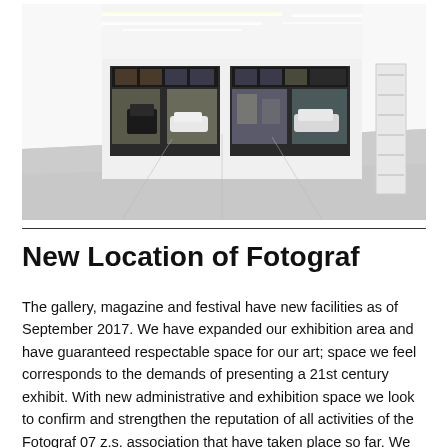[Figure (photo): Interior of a white gallery space with LED strip lighting on ceiling. Two large photographic artworks mounted on the back wall depicting street-level storefronts. A white shelving unit is visible on the right side. The floor is polished concrete.]
New Location of Fotograf
The gallery, magazine and festival have new facilities as of September 2017. We have expanded our exhibition area and have guaranteed respectable space for our art; space we feel corresponds to the demands of presenting a 21st century exhibit. With new administrative and exhibition space we look to confirm and strengthen the reputation of all activities of the Fotograf 07 z.s. association that have taken place so far. We wish to